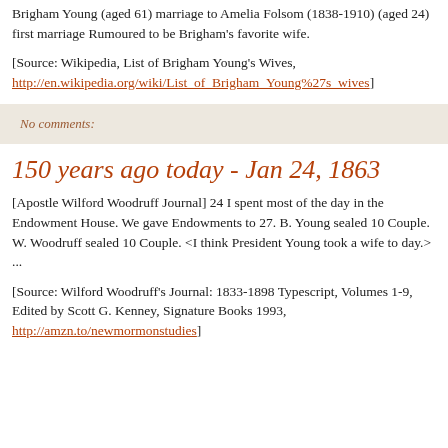Brigham Young (aged 61) marriage to Amelia Folsom (1838-1910) (aged 24) first marriage Rumoured to be Brigham's favorite wife.
[Source: Wikipedia, List of Brigham Young's Wives, http://en.wikipedia.org/wiki/List_of_Brigham_Young%27s_wives]
No comments:
150 years ago today - Jan 24, 1863
[Apostle Wilford Woodruff Journal] 24 I spent most of the day in the Endowment House. We gave Endowments to 27. B. Young sealed 10 Couple. W. Woodruff sealed 10 Couple. <I think President Young took a wife to day.> ...
[Source: Wilford Woodruff's Journal: 1833-1898 Typescript, Volumes 1-9, Edited by Scott G. Kenney, Signature Books 1993, http://amzn.to/newmormonstudies]